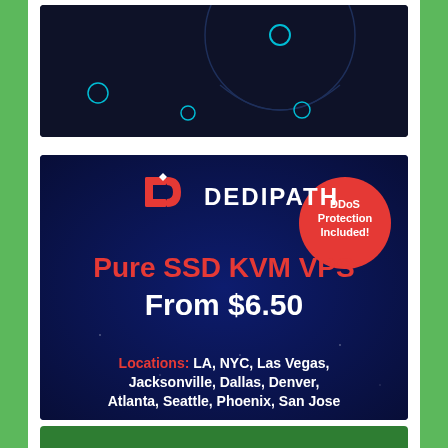[Figure (illustration): Dark navy background illustration with circular geometric shapes and small circles, abstract design]
[Figure (infographic): DediPath advertisement: Pure SSD KVM VPS From $6.50. DDoS Protection Included! Locations: LA, NYC, Las Vegas, Jacksonville, Dallas, Denver, Atlanta, Seattle, Phoenix, San Jose]
[Figure (illustration): Bottom green bar, partial view of another advertisement]